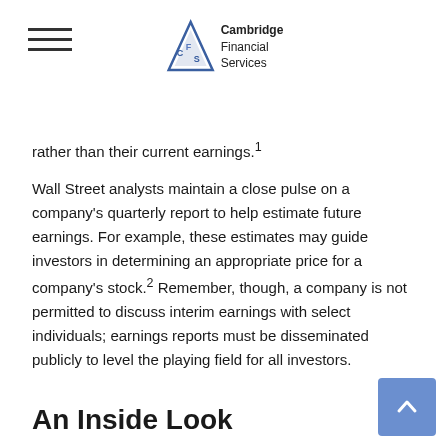Cambridge Financial Services
rather than their current earnings.¹
Wall Street analysts maintain a close pulse on a company's quarterly report to help estimate future earnings. For example, these estimates may guide investors in determining an appropriate price for a company's stock.² Remember, though, a company is not permitted to discuss interim earnings with select individuals; earnings reports must be disseminated publicly to level the playing field for all investors.
An Inside Look
When an earnings report is released, it tells the market two things.
First, it offers an inside into how the company...